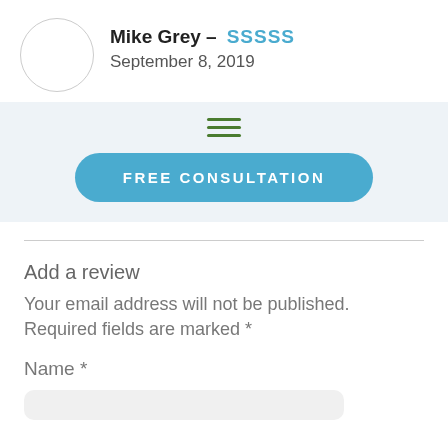Mike Grey – September 8, 2019
[Figure (illustration): Hamburger menu icon with three green horizontal lines]
FREE CONSULTATION
Add a review
Your email address will not be published. Required fields are marked *
Name *